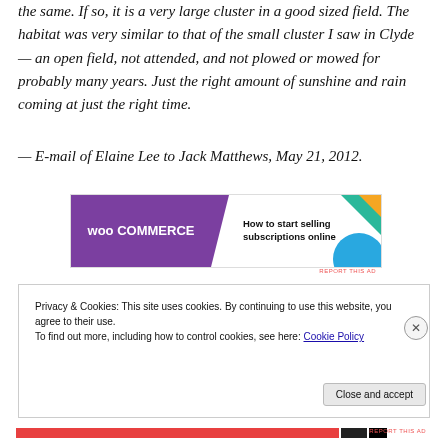the same. If so, it is a very large cluster in a good sized field. The habitat was very similar to that of the small cluster I saw in Clyde — an open field, not attended, and not plowed or mowed for probably many years.   Just the right amount of sunshine and rain coming at just the right time.
— E-mail of Elaine Lee to Jack Matthews, May 21, 2012.
[Figure (other): WooCommerce advertisement: 'How to start selling subscriptions online']
Privacy & Cookies: This site uses cookies. By continuing to use this website, you agree to their use.
To find out more, including how to control cookies, see here: Cookie Policy
Close and accept